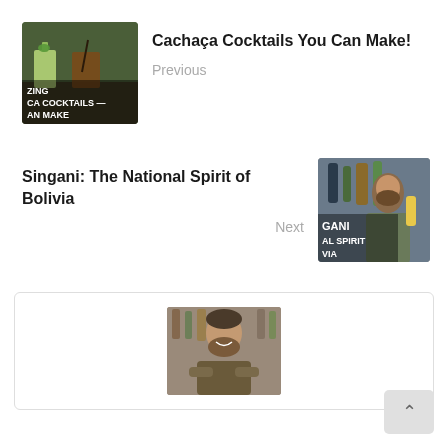[Figure (photo): Thumbnail image of cocktails - cachaça cocktails with text overlay reading ZING, CA COCKTAILS, AN MAKE]
Cachaça Cocktails You Can Make!
Previous
Singani: The National Spirit of Bolivia
Next
[Figure (photo): Thumbnail image of a bartender holding a bottle with text overlay reading GANI, AL SPIRIT, VIA]
[Figure (photo): Author photo - smiling man with beard wearing apron, arms crossed, in a bar setting]